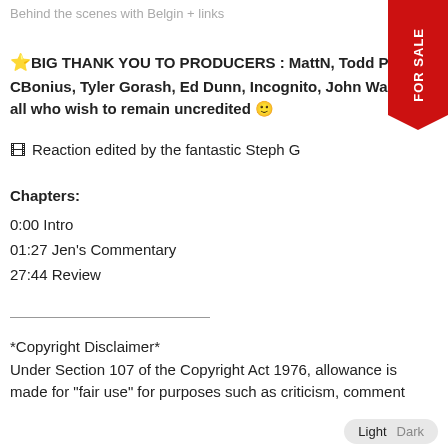Behind the scenes with Belgin + links
⭐BIG THANK YOU TO PRODUCERS : MattN, Todd Preb, CBonius, Tyler Gorash, Ed Dunn, Incognito, John Walters, all who wish to remain uncredited 🙂
🎞 Reaction edited by the fantastic Steph G
Chapters:
0:00 Intro
01:27 Jen's Commentary
27:44 Review
*Copyright Disclaimer* Under Section 107 of the Copyright Act 1976, allowance is made for "fair use" for purposes such as criticism, comment